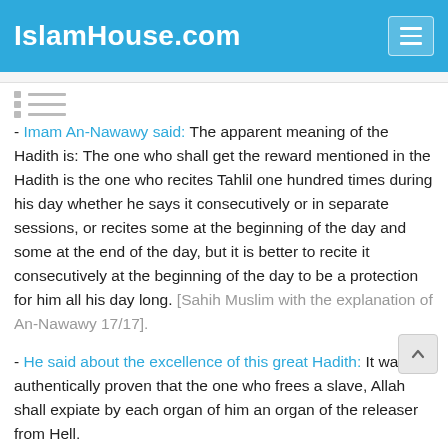IslamHouse.com
- Imam An-Nawawy said: The apparent meaning of the Hadith is: The one who shall get the reward mentioned in the Hadith is the one who recites Tahlil one hundred times during his day whether he says it consecutively or in separate sessions, or recites some at the beginning of the day and some at the end of the day, but it is better to recite it consecutively at the beginning of the day to be a protection for him all his day long. [Sahih Muslim with the explanation of An-Nawawy 17/17].
- He said about the excellence of this great Hadith: It was authentically proven that the one who frees a slave, Allah shall expiate by each organ of him an organ of the releaser from Hell.
- By the way continue the tions of the conti...